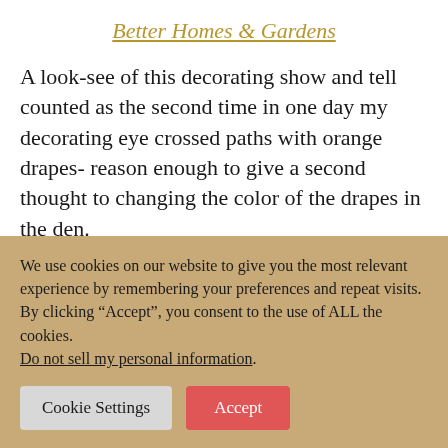Better Homes & Gardens
A look-see of this decorating show and tell counted as the second time in one day my decorating eye crossed paths with orange drapes- reason enough to give a second thought to changing the color of the drapes in the den.
We use cookies on our website to give you the most relevant experience by remembering your preferences and repeat visits. By clicking “Accept”, you consent to the use of ALL the cookies.
Do not sell my personal information.
Cookie Settings  Accept